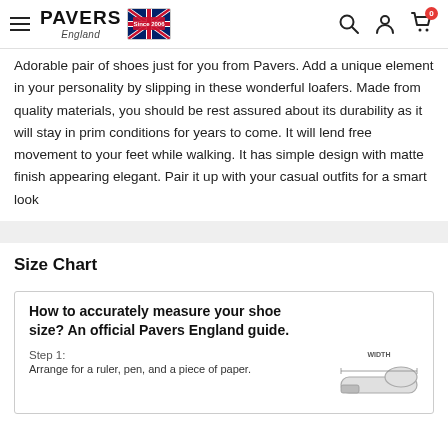PAVERS England — navigation header with search, account, cart icons
Adorable pair of shoes just for you from Pavers. Add a unique element in your personality by slipping in these wonderful loafers. Made from quality materials, you should be rest assured about its durability as it will stay in prim conditions for years to come. It will lend free movement to your feet while walking. It has simple design with matte finish appearing elegant. Pair it up with your casual outfits for a smart look
Size Chart
[Figure (infographic): How to accurately measure your shoe size? An official Pavers England guide. Step 1: Arrange for a ruler, pen, and a piece of paper. Illustration of a shoe with WIDTH label.]